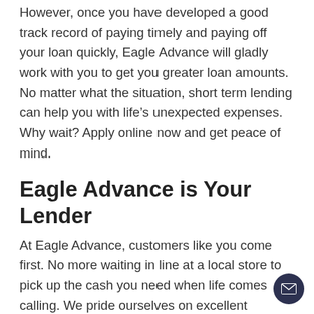However, once you have developed a good track record of paying timely and paying off your loan quickly, Eagle Advance will gladly work with you to get you greater loan amounts. No matter what the situation, short term lending can help you with life's unexpected expenses. Why wait? Apply online now and get peace of mind.
Eagle Advance is Your Lender
At Eagle Advance, customers like you come first. No more waiting in line at a local store to pick up the cash you need when life comes calling. We pride ourselves on excellent customer service